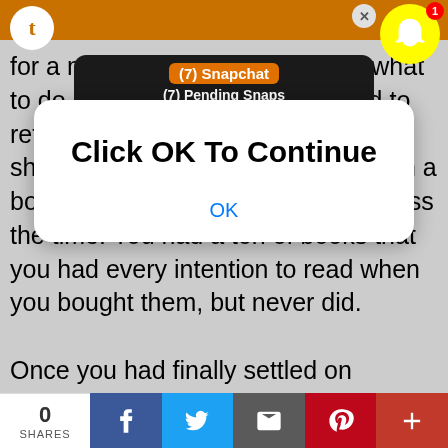[Figure (screenshot): Mobile browser screenshot showing a fan fiction article page with a Snapchat notification overlay bar at the top showing '(7) Snapchat' and '(7) Pending Snaps', a modal dialog with 'Click OK To Continue' and an 'OK' button, article text about retiring to a bedroom, and a social share bar at the bottom with 0 SHARES, Facebook, Twitter, Email, Pinterest, and plus buttons.]
for a moment trying to figure out what to do ne… you eventually decided to retire to the bedroom you & Stephen shared. You figured laying down with a book seemed like a good way to pass the time. You had a ton of books that you had every intention to read when you bought them, but never did.

Once you had finally settled on something to read you pulled back the covers of the large stupidly comfortable bed & decided to strip down to your new underwear. Both for comfort & so that when Stephen returned you could give him a sexy little surprise.

Facing the long mirror in the corner of the room you
0 SHARES